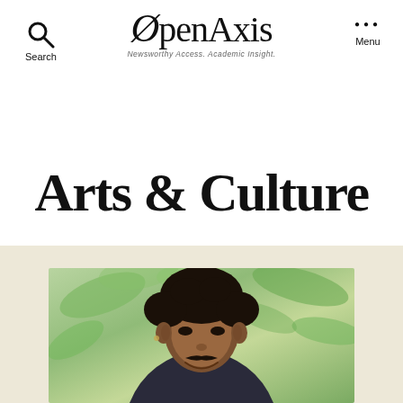OpenAxis — Newsworthy Access. Academic Insight.
Arts & Culture
[Figure (photo): Portrait photo of a man with curly dark hair, smiling, wearing a dark shirt, with green foliage in the background, set against a beige background section]